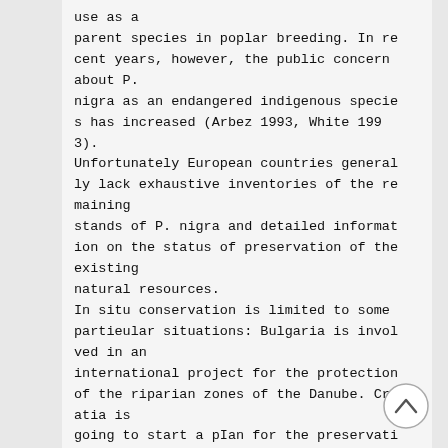use as a parent species in poplar breeding. In recent years, however, the public concern about P. nigra as an endangered indigenous species has increased (Arbez 1993, White 1993). Unfortunately European countries generally lack exhaustive inventories of the remaining stands of P. nigra and detailed information on the status of preservation of the existing natural resources. In situ conservation is limited to some partieular situations: Bulgaria is involved in an international project for the protection of the riparian zones of the Danube. Croatia is going to start a pIan for the preservation of the natural mixed fOl·est with black poplar (covering about 10.000 ha). Hungary init...